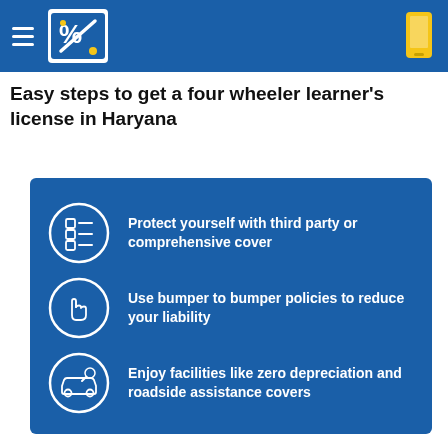PolicyBazaar header with logo and phone icon
Easy steps to get a four wheeler learner's license in Haryana
Protect yourself with third party or comprehensive cover
Use bumper to bumper policies to reduce your liability
Enjoy facilities like zero depreciation and roadside assistance covers